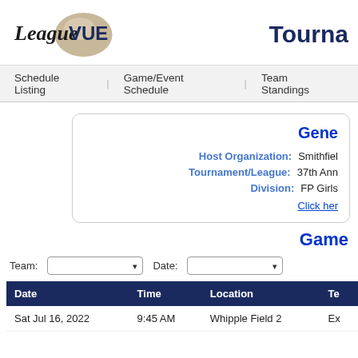[Figure (logo): LeagueVUE logo with stylized text and circular emblem]
Tourna
Schedule Listing | Game/Event Schedule | Team Standings
Gene
Host Organization: Smithfiel
Tournament/League: 37th Ann
Division: FP Girls
Click her
Game
Team: [dropdown]   Date: [dropdown]
| Date | Time | Location | Te |
| --- | --- | --- | --- |
| Sat Jul 16, 2022 | 9:45 AM | Whipple Field 2 | Ex |